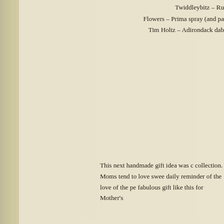Twiddleybitz – Ru
Flowers – Prima spray (and pa
Tim Holtz – Adirondack dab
This next handmade gift idea was c
collection. Moms tend to love swee
daily reminder of the love of the pe
fabulous gift like this for Mother's
[Figure (photo): A decorative handmade gift item with colorful mosaic/decoupage design and green foliage, photographed against a dark black background.]